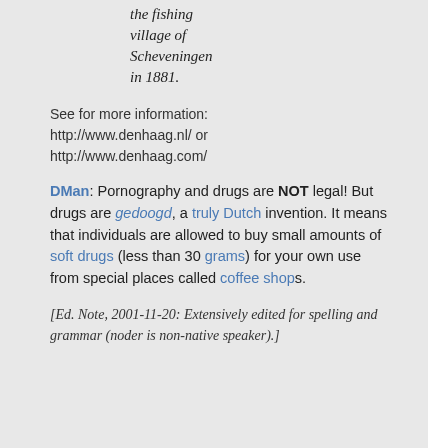the fishing village of Scheveningen in 1881.
See for more information:
http://www.denhaag.nl/ or
http://www.denhaag.com/
DMan: Pornography and drugs are NOT legal! But drugs are gedoogd, a truly Dutch invention. It means that individuals are allowed to buy small amounts of soft drugs (less than 30 grams) for your own use from special places called coffee shops.
[Ed. Note, 2001-11-20: Extensively edited for spelling and grammar (noder is non-native speaker).]
[Figure (other): Social media icons for Twitter and Facebook in footer bar]